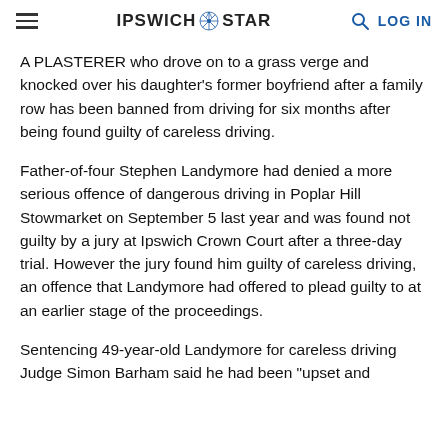IPSWICH STAR
A PLASTERER who drove on to a grass verge and knocked over his daughter's former boyfriend after a family row has been banned from driving for six months after being found guilty of careless driving.
Father-of-four Stephen Landymore had denied a more serious offence of dangerous driving in Poplar Hill Stowmarket on September 5 last year and was found not guilty by a jury at Ipswich Crown Court after a three-day trial. However the jury found him guilty of careless driving, an offence that Landymore had offered to plead guilty to at an earlier stage of the proceedings.
Sentencing 49-year-old Landymore for careless driving Judge Simon Barham said he had been "upset and